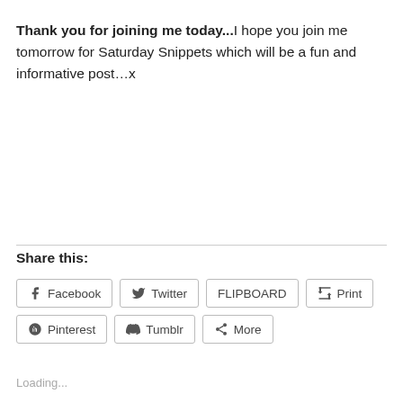Thank you for joining me today...I hope you join me tomorrow for Saturday Snippets which will be a fun and informative post…x
Share this:
Facebook  Twitter  FLIPBOARD  Print  Pinterest  Tumblr  More
Loading...